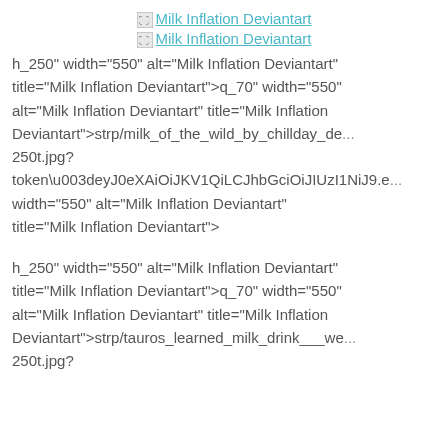[Figure (other): Broken image icon link labeled 'Milk Inflation Deviantart']
[Figure (other): Broken image icon link labeled 'Milk Inflation Deviantart']
h_250" width="550" alt="Milk Inflation Deviantart" title="Milk Inflation Deviantart">q_70" width="550" alt="Milk Inflation Deviantart" title="Milk Inflation Deviantart">strp/milk_of_the_wild_by_chillday_de... 250t.jpg? token\u003deyJ0eXAiOiJKV1QiLCJhbGciOiJIUzI1NiJ9.e... width="550" alt="Milk Inflation Deviantart" title="Milk Inflation Deviantart">
h_250" width="550" alt="Milk Inflation Deviantart" title="Milk Inflation Deviantart">q_70" width="550" alt="Milk Inflation Deviantart" title="Milk Inflation Deviantart">strp/tauros_learned_milk_drink___we... 250t.jpg?